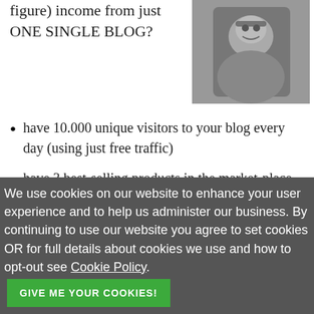figure) income from just ONE SINGLE BLOG?
[Figure (photo): Black and white photo of a smiling bearded man wearing sunglasses]
have 10.000 unique visitors to your blog every day (using just free traffic)
have 3 best-selling products in the market-place, in one of the most competitive niches
We use cookies on our website to enhance your user experience and to help us administer our business. By continuing to use our website you agree to set cookies OR for full details about cookies we use and how to opt-out see Cookie Policy.
GIVE ME YOUR COOKIES!